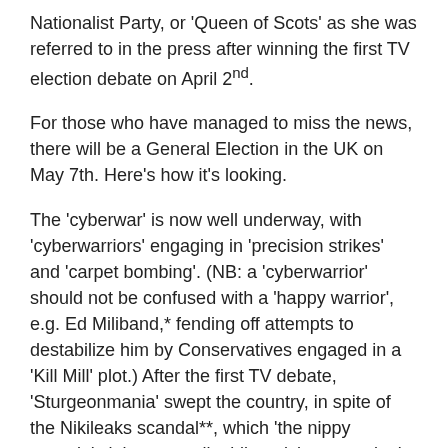Nationalist Party, or 'Queen of Scots' as she was referred to in the press after winning the first TV election debate on April 2nd.
For those who have managed to miss the news, there will be a General Election in the UK on May 7th. Here's how it's looking.
The 'cyberwar' is now well underway, with 'cyberwarriors' engaging in 'precision strikes' and 'carpet bombing'. (NB: a 'cyberwarrior' should not be confused with a 'happy warrior', e.g. Ed Miliband,* fending off attempts to destabilize him by Conservatives engaged in a 'Kill Mill' plot.) After the first TV debate, 'Sturgeonmania' swept the country, in spite of the Nikileaks scandal**, which 'the nippy sweetie' claims was all a 'dirty tricks campaign' (and in which the perfidious French were somehow involved). Her 'cybernats' have been busy 'pumping out vines'*** on